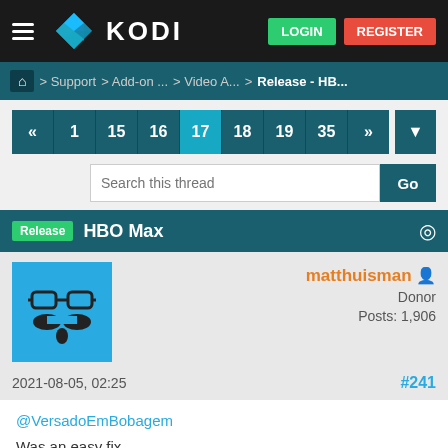[Figure (screenshot): Kodi forum page header with navigation bar showing Kodi logo, LOGIN and REGISTER buttons]
Support > Add-on ... > Video A... > Release - HB...
« 1 15 16 17 18 19 35 »
Search this thread | Go
Release  HBO Max
matthuisman
Donor
Posts: 1,906
2021-08-05, 02:25  #241
@VersadoEmBobagem
Was an easy fix.
The XML subs returns by HBO has some empty elements.